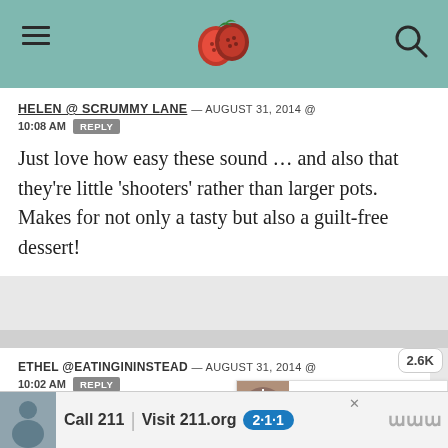[Figure (screenshot): Website header bar with teal background, hamburger menu on left, raspberry/berry logo in center, search icon on right]
HELEN @ SCRUMMY LANE — AUGUST 31, 2014 @ 10:08 AM [REPLY]
Just love how easy these sound … and also that they're little 'shooters' rather than larger pots. Makes for not only a tasty but also a guilt-free dessert!
ETHEL @EATINGININSTEAD — AUGUST 31, 2014 @ 10:02 AM [REPLY]
Sooooo fancy and soooo perfect for my upcoming girls' night in! Thank you!
[Figure (screenshot): Advertisement banner: Call 211 | Visit 211.org with 211 badge logo and person image]